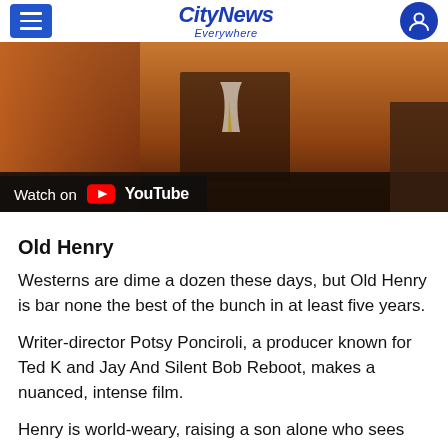CityNews Everywhere
[Figure (screenshot): Video thumbnail showing a man in a suit and tie at sunset, with a 'Watch on YouTube' overlay bar at the bottom left.]
Old Henry
Westerns are dime a dozen these days, but Old Henry is bar none the best of the bunch in at least five years.
Writer-director Potsy Ponciroli, a producer known for Ted K and Jay And Silent Bob Reboot, makes a nuanced, intense film.
Henry is world-weary, raising a son alone who sees him as a failure following the death of his wife.